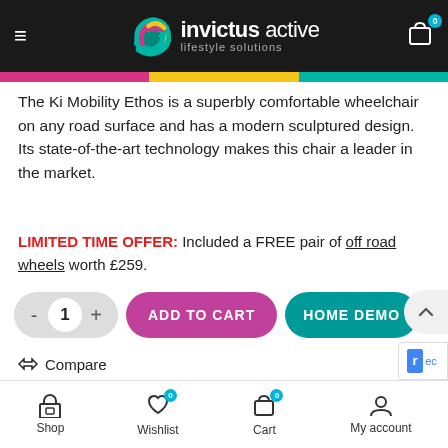[Figure (screenshot): Invictus Active lifestyle solutions website header with logo, hamburger menu, and cart icon on black background]
The Ki Mobility Ethos is a superbly comfortable wheelchair on any road surface and has a modern sculptured design. Its state-of-the-art technology makes this chair a leader in the market.
LIMITED TIME OFFER: Included a FREE pair of off road wheels worth £259.
[Figure (screenshot): Add to cart quantity controls with minus/plus buttons, ADD TO CART button in pink, and HOME DEMO button in teal]
Compare
Share: (social media icons for Facebook, Twitter, Pinterest, LinkedIn, WhatsApp)
Shop  Wishlist 0  Cart 0  My account